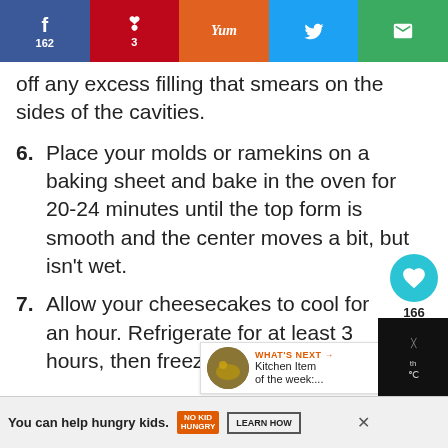Social share bar: Facebook 162, Pinterest 3, Yummly, Twitter, Email
off any excess filling that smears on the sides of the cavities.
6. Place your molds or ramekins on a baking sheet and bake in the oven for 20-24 minutes until the top form is smooth and the center moves a bit, but isn't wet.
7. Allow your cheesecakes to cool for an hour. Refrigerate for at least 3 hours, then freeze for two hours. The cheesecakes are easier to remove when frozen.
8. I found the best way to remove the
[Figure (infographic): Heart/like button showing 166 likes, and a share button]
[Figure (infographic): What's Next promo: Kitchen Item of the week:...]
You can help hungry kids. NO KID HUNGRY LEARN HOW